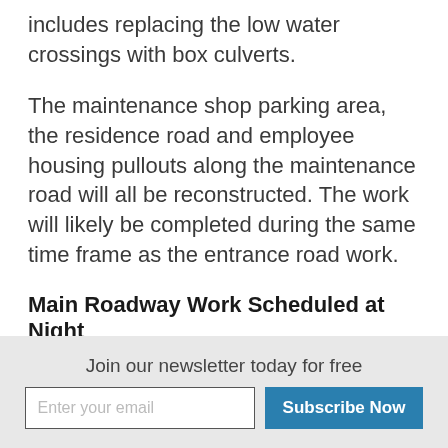includes replacing the low water crossings with box culverts.
The maintenance shop parking area, the residence road and employee housing pullouts along the maintenance road will all be reconstructed. The work will likely be completed during the same time frame as the entrance road work.
Main Roadway Work Scheduled at Night
Under the provisions of the environmental assessment for the project, the contractor is allowed to perform mainline roadwork during the night. The
Join our newsletter today for free